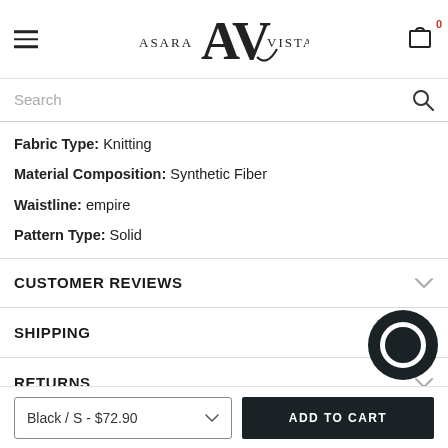Asara Vista — navigation header with hamburger menu, logo, and cart (0 items)
Search
Fabric Type: Knitting
Material Composition: Synthetic Fiber
Waistline: empire
Pattern Type: Solid
CUSTOMER REVIEWS
SHIPPING
RETURNS
Black / S - $72.90
ADD TO CART